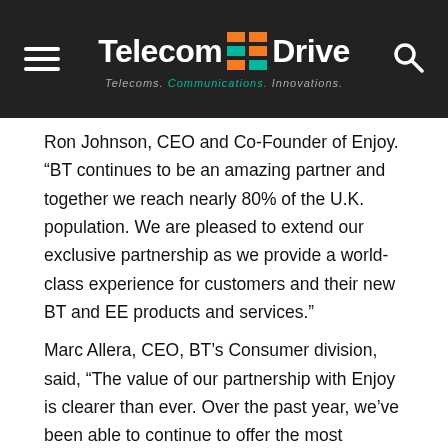Telecom Drive — Telecoms. Communications. Innovations.
Ron Johnson, CEO and Co-Founder of Enjoy. “BT continues to be an amazing partner and together we reach nearly 80% of the U.K. population. We are pleased to extend our exclusive partnership as we provide a world-class experience for customers and their new BT and EE products and services.”
Marc Allera, CEO, BT’s Consumer division, said, “The value of our partnership with Enjoy is clearer than ever. Over the past year, we’ve been able to continue to offer the most personal and local service in the U.K. despite the closure of our stores during lockdown. We’re showing our commitment to providing the best multi-channel service in the industry by extending our partnership for a further four years and investing to be a part of this mobile retail technology offer.”